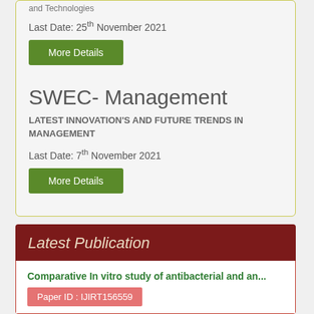and Technologies
Last Date: 25th November 2021
More Details
SWEC- Management
LATEST INNOVATION'S AND FUTURE TRENDS IN MANAGEMENT
Last Date: 7th November 2021
More Details
Latest Publication
Comparative In vitro study of antibacterial and an...
Paper ID : IJIRT156559